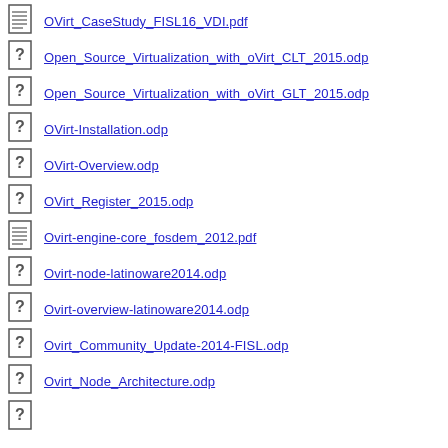OVirt_CaseStudy_FISL16_VDI.pdf
Open_Source_Virtualization_with_oVirt_CLT_2015.odp
Open_Source_Virtualization_with_oVirt_GLT_2015.odp
OVirt-Installation.odp
OVirt-Overview.odp
OVirt_Register_2015.odp
Ovirt-engine-core_fosdem_2012.pdf
Ovirt-node-latinoware2014.odp
Ovirt-overview-latinoware2014.odp
Ovirt_Community_Update-2014-FISL.odp
Ovirt_Node_Architecture.odp